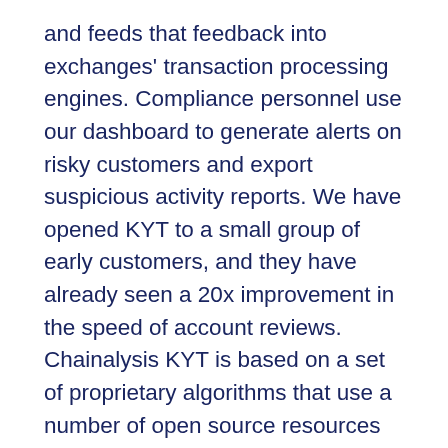and feeds that feedback into exchanges' transaction processing engines. Compliance personnel use our dashboard to generate alerts on risky customers and export suspicious activity reports. We have opened KYT to a small group of early customers, and they have already seen a 20x improvement in the speed of account reviews. Chainalysis KYT is based on a set of proprietary algorithms that use a number of open source resources to identify and report suspicious patterns in the transaction behavior of monitored wallets.
Since this year, the tool has included BCH